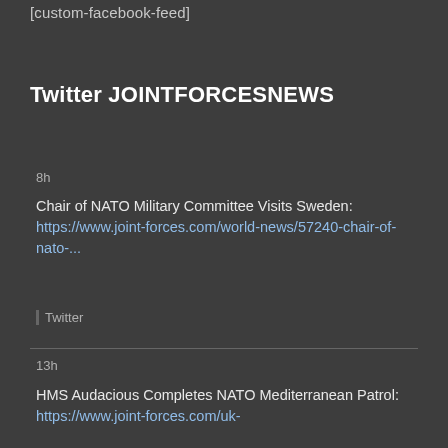[custom-facebook-feed]
Twitter JOINTFORCESNEWS
8h
Chair of NATO Military Committee Visits Sweden: https://www.joint-forces.com/world-news/57240-chair-of-nato-...
Twitter
13h
HMS Audacious Completes NATO Mediterranean Patrol: https://www.joint-forces.com/uk-